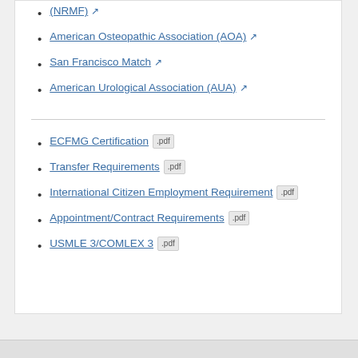(NRMF) [external link]
American Osteopathic Association (AOA) [external link]
San Francisco Match [external link]
American Urological Association (AUA) [external link]
ECFMG Certification .pdf
Transfer Requirements .pdf
International Citizen Employment Requirement .pdf
Appointment/Contract Requirements .pdf
USMLE 3/COMLEX 3 .pdf